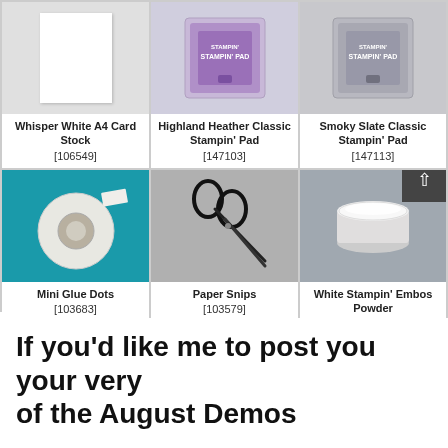[Figure (photo): Whisper White A4 Card Stock product image showing white card sheets on grey background]
Whisper White A4 Card Stock
[106549]
[Figure (photo): Highland Heather Classic Stampin' Pad product image showing purple ink pad]
Highland Heather Classic Stampin' Pad
[147103]
[Figure (photo): Smoky Slate Classic Stampin' Pad product image showing grey ink pad]
Smoky Slate Classic Stampin' Pad
[147113]
[Figure (photo): Mini Glue Dots product image showing roll of tape on teal background]
Mini Glue Dots
[103683]
[Figure (photo): Paper Snips product image showing black scissors on grey background]
Paper Snips
[103579]
[Figure (photo): White Stampin' Embossing Powder product image showing white powder jar on grey background]
White Stampin' Embossing Powder
[109132]
If you'd like me to post you your very
of the August Demos